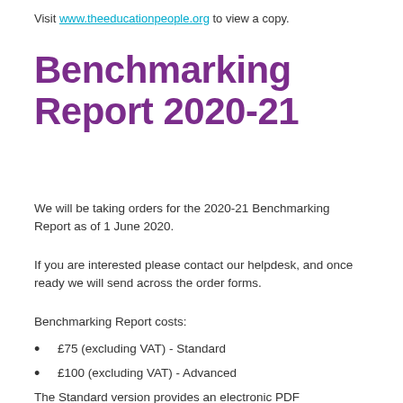Visit www.theeducationpeople.org to view a copy.
Benchmarking Report 2020-21
We will be taking orders for the 2020-21 Benchmarking Report as of 1 June 2020.
If you are interested please contact our helpdesk, and once ready we will send across the order forms.
Benchmarking Report costs:
£75 (excluding VAT) - Standard
£100 (excluding VAT) - Advanced
The Standard version provides an electronic PDF